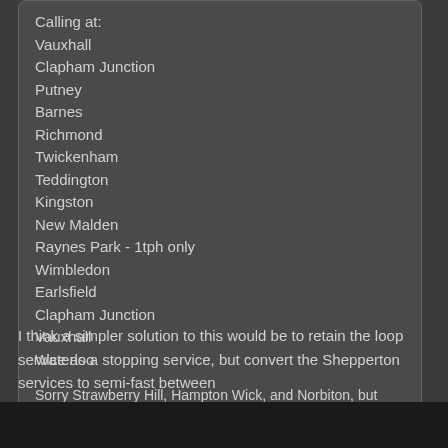Calling at:
Vauxhall
Clapham Junction
Putney
Barnes
Richmond
Twickenham
Teddington
Kingston
New Malden
Raynes Park - 1tph only
Wimbledon
Earlsfield
Clapham Junction
Vauxhall
Waterloo
Sorry Strawberry Hill, Hampton Wick, and Norbiton, but those stations are pretty dead and have decent bus connections to nearby stations for those in envy of this service.
I think a simpler solution to this would be to retain the loop service as a stopping service, but convert the Shepperton services to semi-fast between